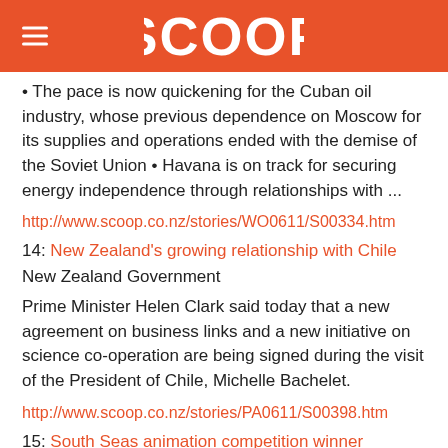SCOOP
• The pace is now quickening for the Cuban oil industry, whose previous dependence on Moscow for its supplies and operations ended with the demise of the Soviet Union • Havana is on track for securing energy independence through relationships with ...
http://www.scoop.co.nz/stories/WO0611/S00334.htm
14: New Zealand's growing relationship with Chile
New Zealand Government
Prime Minister Helen Clark said today that a new agreement on business links and a new initiative on science co-operation are being signed during the visit of the President of Chile, Michelle Bachelet.
http://www.scoop.co.nz/stories/PA0611/S00398.htm
15: South Seas animation competition winner